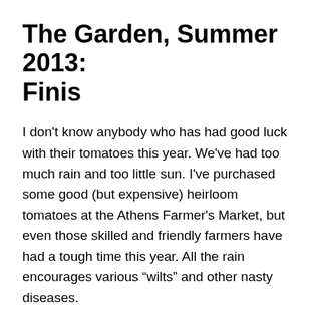The Garden, Summer 2013: Finis
I don't know anybody who has had good luck with their tomatoes this year. We've had too much rain and too little sun. I've purchased some good (but expensive) heirloom tomatoes at the Athens Farmer's Market, but even those skilled and friendly farmers have had a tough time this year. All the rain encourages various “wilts” and other nasty diseases.
And it turns out that rabbits like tomato seedlings, though not as much as they seem to like sunflower seedlings.
It’s all been very disappointing.
But I’m going to set out some cruciferous vegetables in the